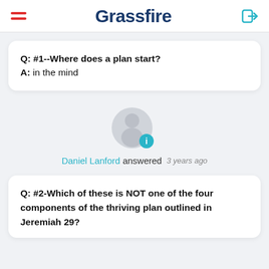Grassfire
Q: #1--Where does a plan start?
A: in the mind
[Figure (illustration): Generic user avatar (grey silhouette on light grey circle) with a teal info badge (i) in the bottom right corner.]
Daniel Lanford answered  3 years ago
Q: #2-Which of these is NOT one of the four components of the thriving plan outlined in Jeremiah 29?